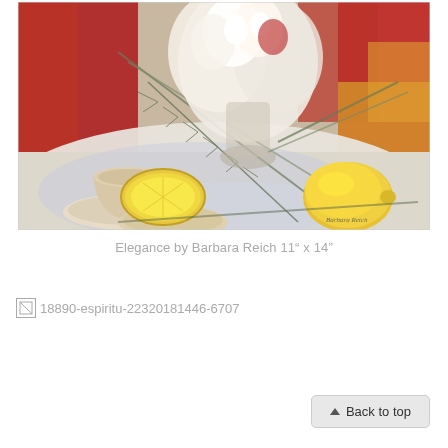[Figure (illustration): An impressionist-style oil painting titled 'Elegance' by Barbara Reich. The painting depicts a still life with a teacup on a saucer, a halved lemon on a plate, a bouquet of white flowers, pine branches, and a whole lemon on a white tablecloth. The background features red and yellow tones. The artist's signature 'Barbara Reich' appears in the lower right corner.]
Elegance by Barbara Reich  11" x 14"
[Figure (photo): Broken/missing image placeholder with alt text: 18890-espiritu-22320181446-6707]
▲ Back to top